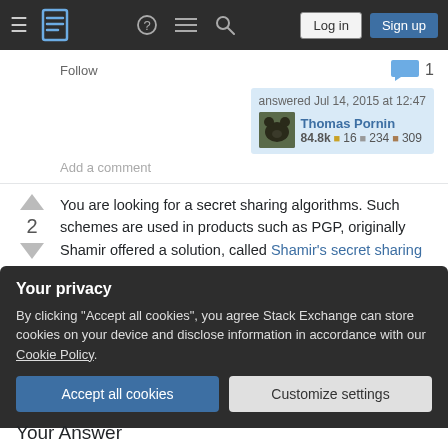Stack Exchange navigation bar with Log in and Sign up buttons
Follow
answered Jul 14, 2015 at 12:47 Thomas Pornin 84.8k 16 234 309
Add a comment
You are looking for a secret sharing algorithms. Such schemes are used in products such as PGP, originally Shamir offered a solution, called Shamir's secret sharing algorithm.
Your privacy
By clicking "Accept all cookies", you agree Stack Exchange can store cookies on your device and disclose information in accordance with our Cookie Policy.
Accept all cookies  Customize settings
Your Answer